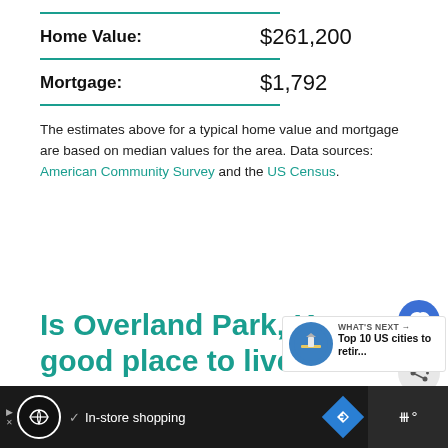Home Value: $261,200
Mortgage: $1,792
The estimates above for a typical home value and mortgage are based on median values for the area. Data sources: American Community Survey and the US Census.
Is Overland Park, Kans… good place to live?
WHAT'S NEXT → Top 10 US cities to retir...
In-store shopping